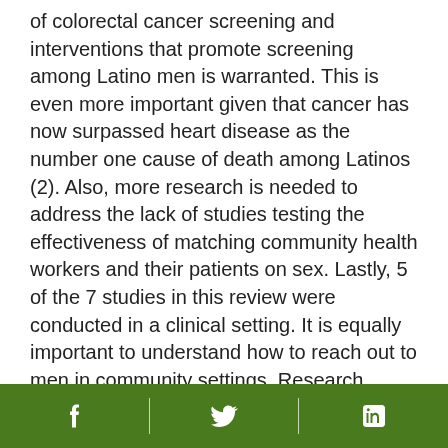of colorectal cancer screening and interventions that promote screening among Latino men is warranted. This is even more important given that cancer has now surpassed heart disease as the number one cause of death among Latinos (2). Also, more research is needed to address the lack of studies testing the effectiveness of matching community health workers and their patients on sex. Lastly, 5 of the 7 studies in this review were conducted in a clinical setting. It is equally important to understand how to reach out to men in community settings. Research shows that men are not as connected to the health care system as women. From 2013 to 2015, 68% of low-income and uninsured men compared with 81% of low-income and uninsured women reported having a regular clinic they go to when sick
[Facebook] [Twitter] [LinkedIn]